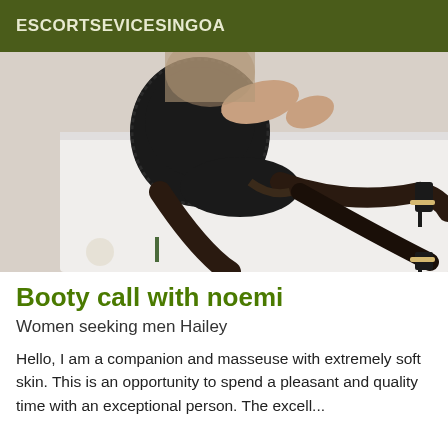ESCORTSEVICESINGOA
[Figure (photo): Woman in black lace top and stockings posing on a white surface with flowers]
Booty call with noemi
Women seeking men Hailey
Hello, I am a companion and masseuse with extremely soft skin. This is an opportunity to spend a pleasant and quality time with an exceptional person. The excellent...